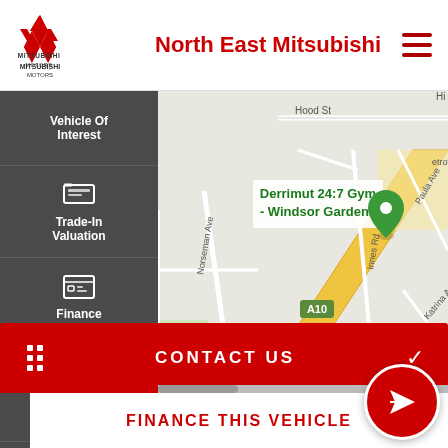North East Mitsubishi
Vehicle Of Interest
Trade-In Valuation
Finance Score
Finance Enquiry
Book A Test Drive
Click To Buy
[Figure (map): Google Maps showing area around Derrimut 24:7 Gym - Windsor Gardens, with streets including Hood St, Norseman Ave, Deakin Ave, Innes Rd, Paula Ave, Katrina Ave, Freebaim St, Boden Ct, Albert St, and highway A10 marked with yellow road]
CONTACT US
FINANCE THIS VEHICLE